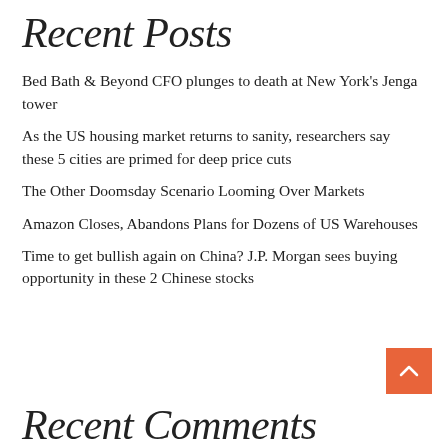Recent Posts
Bed Bath & Beyond CFO plunges to death at New York's Jenga tower
As the US housing market returns to sanity, researchers say these 5 cities are primed for deep price cuts
The Other Doomsday Scenario Looming Over Markets
Amazon Closes, Abandons Plans for Dozens of US Warehouses
Time to get bullish again on China? J.P. Morgan sees buying opportunity in these 2 Chinese stocks
Recent Comments